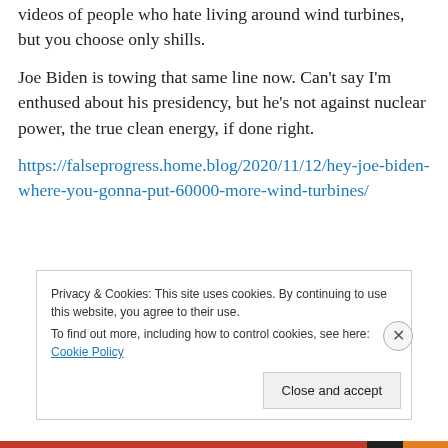videos of people who hate living around wind turbines, but you choose only shills.
Joe Biden is towing that same line now. Can't say I'm enthused about his presidency, but he's not against nuclear power, the true clean energy, if done right.
https://falseprogress.home.blog/2020/11/12/hey-joe-biden-where-you-gonna-put-60000-more-wind-turbines/
Privacy & Cookies: This site uses cookies. By continuing to use this website, you agree to their use. To find out more, including how to control cookies, see here: Cookie Policy
Close and accept